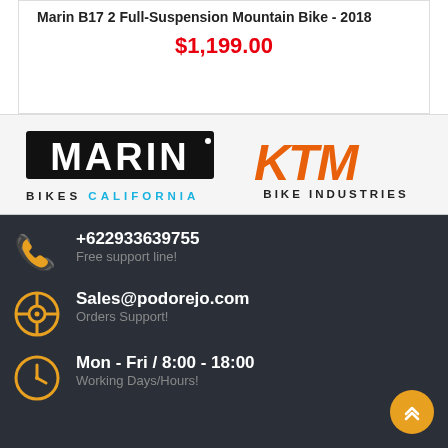Marin B17 2 Full-Suspension Mountain Bike - 2018
$1,199.00
[Figure (logo): Marin Bikes California logo - black wordmark with blue 'CALIFORNIA' text]
[Figure (logo): KTM Bike Industries logo - orange KTM wordmark with black 'BIKE INDUSTRIES' text]
+622933639755
Free support line!
Sales@podorejo.com
Orders Support!
Mon - Fri / 8:00 - 18:00
Working Days/Hours!